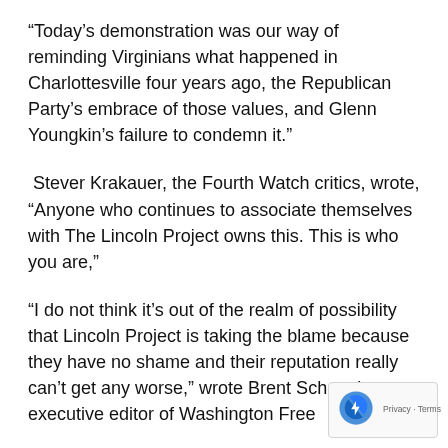“Today’s demonstration was our way of reminding Virginians what happened in Charlottesville four years ago, the Republican Party’s embrace of those values, and Glenn Youngkin’s failure to condemn it.”
Stever Krakauer, the Fourth Watch critics, wrote, “Anyone who continues to associate themselves with The Lincoln Project owns this. This is who you are,”
“I do not think it’s out of the realm of possibility that Lincoln Project is taking the blame because they have no shame and their reputation really can’t get any worse,” wrote Brent Scher, the executive editor of Washington Free
Glenn Greenwald, the Substack journalist, said, “Need say, right-wing groups that perpetrated a fraud like this